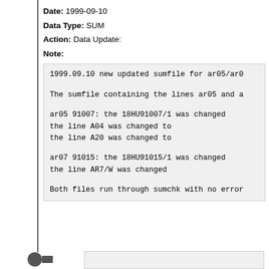Date: 1999-09-10
Data Type: SUM
Action: Data Update:
Note:
1999.09.10 new updated sumfile for ar05/ar0

The sumfile containing the lines ar05 and a

ar05 91007:     the 18HU91007/1 was changed
                the line A04 was changed to
                the line A20 was changed to

ar07 91015:     the 18HU91015/1 was changed
                the line AR7/W was changed

Both files run through sumchk with no error